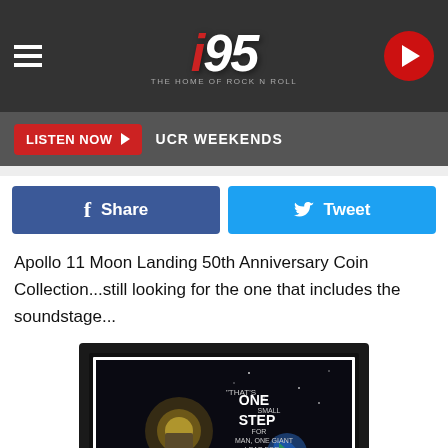i95 THE HOME OF ROCK N ROLL - Navigation bar with hamburger menu and play button
LISTEN NOW ▶  UCR WEEKENDS
Share  Tweet
Apollo 11 Moon Landing 50th Anniversary Coin Collection...still looking for the one that includes the soundstage...
[Figure (photo): Framed artwork showing Apollo 11 moon landing scene with quote: 'THAT'S ONE SMALL STEP FOR MAN, ONE GIANT LEAP FOR MANKIND' with Earth visible in background]